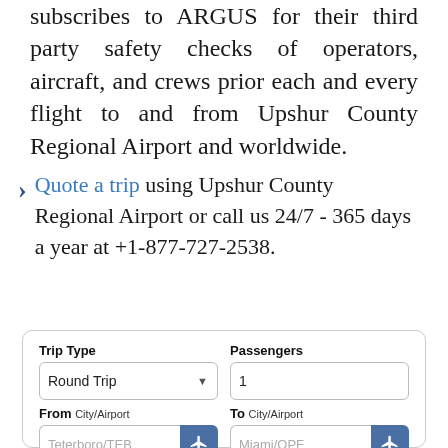subscribes to ARGUS for their third party safety checks of operators, aircraft, and crews prior each and every flight to and from Upshur County Regional Airport and worldwide.
Quote a trip using Upshur County Regional Airport or call us 24/7 - 365 days a year at +1-877-727-2538.
[Figure (screenshot): A web form for booking a trip. Fields include Trip Type (Round Trip dropdown), Passengers (value: 1), From City/Airport (placeholder: Teterboro/TEB), To City/Airport (placeholder: Miami/OPF), Depart Date, and Time.]